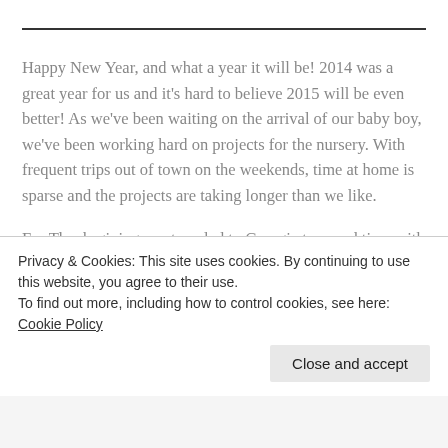Happy New Year, and what a year it will be! 2014 was a great year for us and it's hard to believe 2015 will be even better! As we've been waiting on the arrival of our baby boy, we've been working hard on projects for the nursery. With frequent trips out of town on the weekends, time at home is sparse and the projects are taking longer than we like.
For Thanksgiving, we traveled to Georgia to spend time with my family. The weather was good for the most part, but I was thrilled when a rainy day turned into a project day in my dad's workshop. Being the tool nerd that he is, my dad has a nicely stocked workshop, which is something I could get used to.
Privacy & Cookies: This site uses cookies. By continuing to use this website, you agree to their use. To find out more, including how to control cookies, see here: Cookie Policy
Close and accept